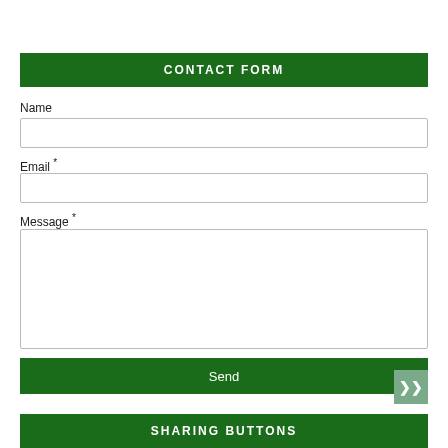CONTACT FORM
Name
Email *
Message *
Send
SHARING BUTTONS